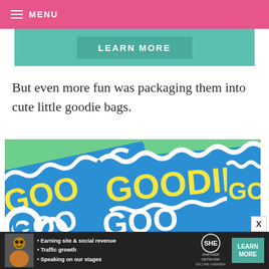≡ MENU
[Figure (other): Teal/green banner ad with a 'LEARN MORE' button]
But even more fun was packaging them into cute little goodie bags.
[Figure (photo): Photo of blue goodie bags with colorful retro-style text reading 'GOODIE' and 'GOO' on a green background]
[Figure (other): Bottom advertisement banner: SHE Partner Network with bullet points 'Earning site & social revenue', 'Traffic growth', 'Speaking on our stages' and a LEARN MORE button]